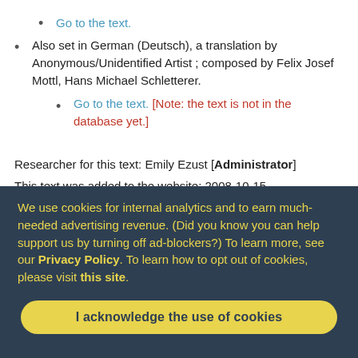Go to the text.
Also set in German (Deutsch), a translation by Anonymous/Unidentified Artist ; composed by Felix Josef Mottl, Hans Michael Schletterer.
Go to the text. [Note: the text is not in the database yet.]
Researcher for this text: Emily Ezust [Administrator]
This text was added to the website: 2008-10-15
Line count: 25
Word count: 115
We use cookies for internal analytics and to earn much-needed advertising revenue. (Did you know you can help support us by turning off ad-blockers?) To learn more, see our Privacy Policy. To learn how to opt out of cookies, please visit this site.
I acknowledge the use of cookies